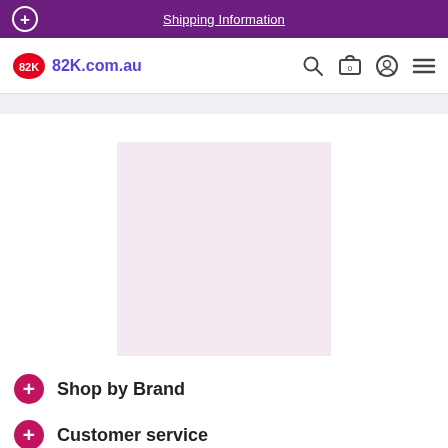Shipping Information
[Figure (logo): 82K.com.au logo with Australian map icon in red and site name in purple]
[Figure (other): Product image placeholder — light pink/lavender square]
Shop by Brand
Customer service